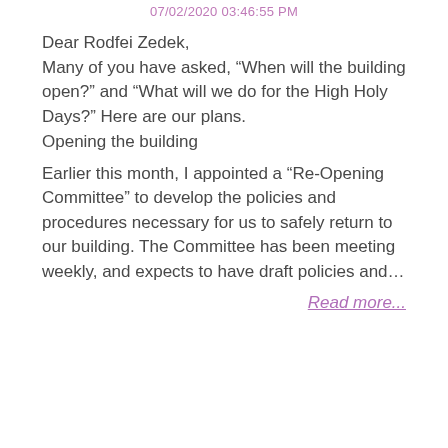07/02/2020 03:46:55 PM
Dear Rodfei Zedek,
Many of you have asked, “When will the building open?” and “What will we do for the High Holy Days?” Here are our plans.
Opening the building
Earlier this month, I appointed a “Re-Opening Committee” to develop the policies and procedures necessary for us to safely return to our building. The Committee has been meeting weekly, and expects to have draft policies and…
Read more...